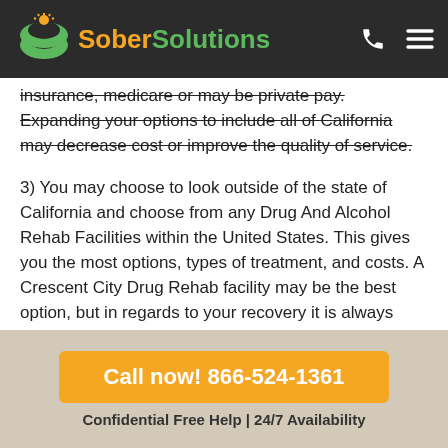Sober Solutions
insurance, medicare or may be private pay. Expanding your options to include all of California may decrease cost or improve the quality of service.
3) You may choose to look outside of the state of California and choose from any Drug And Alcohol Rehab Facilities within the United States. This gives you the most options, types of treatment, and costs. A Crescent City Drug Rehab facility may be the best option, but in regards to your recovery it is always better to have choices from different...
Call now! 866-524-1361 | Confidential Free Help | 24/7 Availability